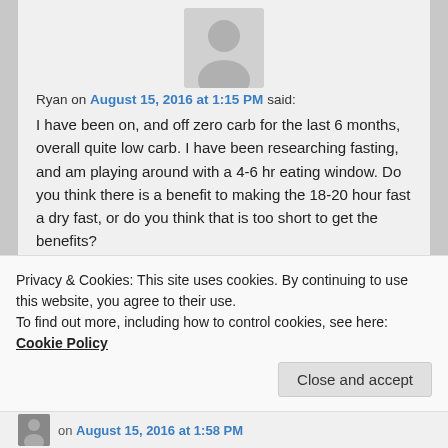[Figure (illustration): Grey silhouette avatar icon of a person]
Ryan on August 15, 2016 at 1:15 PM said:
I have been on, and off zero carb for the last 6 months, overall quite low carb. I have been researching fasting, and am playing around with a 4-6 hr eating window. Do you think there is a benefit to making the 18-20 hour fast a dry fast, or do you think that is too short to get the benefits?

Thanks

Ryan
Privacy & Cookies: This site uses cookies. By continuing to use this website, you agree to their use.
To find out more, including how to control cookies, see here: Cookie Policy
Close and accept
on August 15, 2016 at 1:58 PM